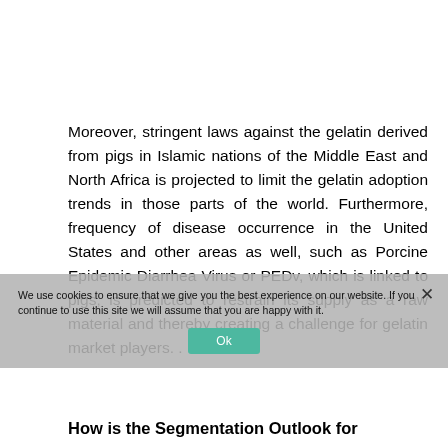Moreover, stringent laws against the gelatin derived from pigs in Islamic nations of the Middle East and North Africa is projected to limit the gelatin adoption trends in those parts of the world. Furthermore, frequency of disease occurrence in the United States and other areas as well, such as Porcine Epidemic Diarrhea Virus or PEDv, which is linked to pigs, is predicted to restrain its supply as a raw material and thereby creating a challenge for gelatin market players. .
How is the Segmentation Outlook for